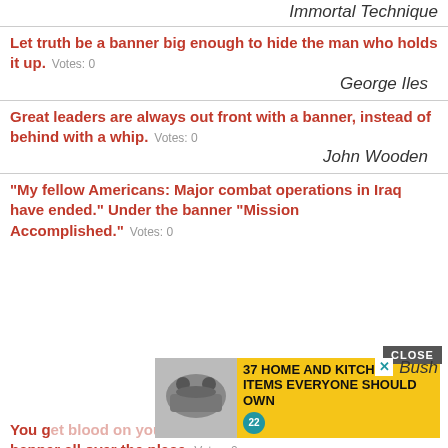Immortal Technique
Let truth be a banner big enough to hide the man who holds it up. Votes: 0
George Iles
Great leaders are always out front with a banner, instead of behind with a whip. Votes: 0
John Wooden
"My fellow Americans: Major combat operations in Iraq have ended." Under the banner "Mission Accomplished." Votes: 0
Bush
[Figure (other): Advertisement banner: 37 HOME AND KITCHEN ITEMS EVERYONE SHOULD OWN with food image and blue badge numbered 22]
You get blood on your face, you big disgrace, waving your banner all over the place. Votes: 0